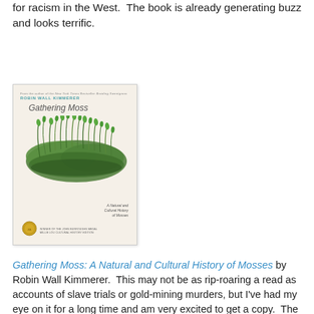for racism in the West.  The book is already generating buzz and looks terrific.
[Figure (photo): Book cover of 'Gathering Moss: A Natural and Cultural History of Mosses' by Robin Wall Kimmerer, showing a large clump of green moss against a light beige background.]
Gathering Moss: A Natural and Cultural History of Mosses by Robin Wall Kimmerer.  This may not be as rip-roaring a read as accounts of slave trials or gold-mining murders, but I've had my eye on it for a long time and am very excited to get a copy.  The author won the John Burroughs Medal Award for Natural History Writing for Gathering Moss.